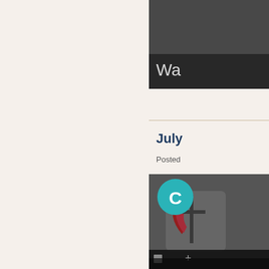[Figure (screenshot): Partially visible video thumbnail with dark background and text 'Wa' visible at bottom left]
July
Posted
[Figure (screenshot): Video thumbnail showing United Methodist Church cross and flame logo with a teal circle avatar with letter C overlay, and dark video controls at the bottom]